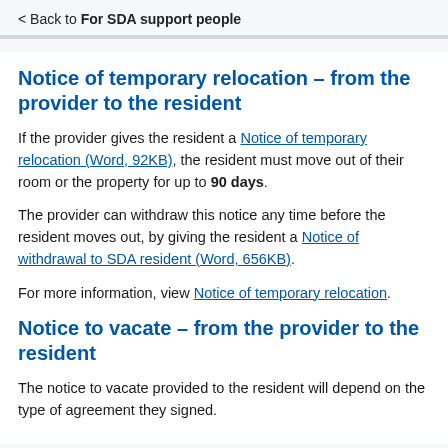< Back to For SDA support people
Notice of temporary relocation – from the provider to the resident
If the provider gives the resident a Notice of temporary relocation (Word, 92KB), the resident must move out of their room or the property for up to 90 days.
The provider can withdraw this notice any time before the resident moves out, by giving the resident a Notice of withdrawal to SDA resident (Word, 656KB).
For more information, view Notice of temporary relocation.
Notice to vacate – from the provider to the resident
The notice to vacate provided to the resident will depend on the type of agreement they signed.